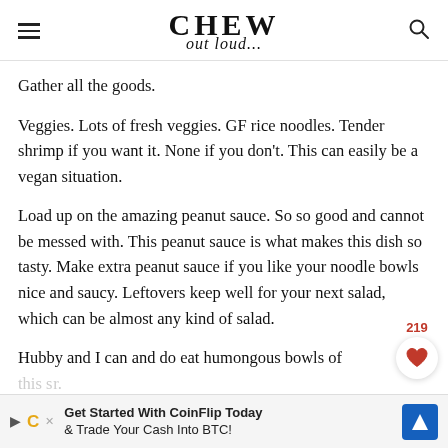CHEW out loud...
Gather all the goods.
Veggies. Lots of fresh veggies. GF rice noodles. Tender shrimp if you want it. None if you don't. This can easily be a vegan situation.
Load up on the amazing peanut sauce. So so good and cannot be messed with. This peanut sauce is what makes this dish so tasty. Make extra peanut sauce if you like your noodle bowls nice and saucy. Leftovers keep well for your next salad, which can be almost any kind of salad.
Hubby and I can and do eat humongous bowls of this s... r.
[Figure (other): Advertisement banner: Get Started With CoinFlip Today & Trade Your Cash Into BTC!]